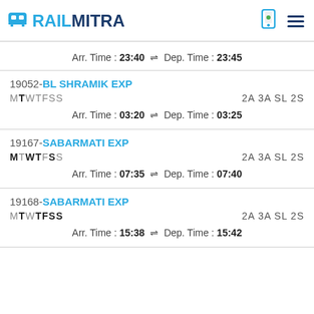RAILMITRA
Arr. Time : 23:40 ⇌ Dep. Time : 23:45
19052-BL SHRAMIK EXP MTWTFSS 2A 3A SL 2S
Arr. Time : 03:20 ⇌ Dep. Time : 03:25
19167-SABARMATI EXP MTWTFSS 2A 3A SL 2S
Arr. Time : 07:35 ⇌ Dep. Time : 07:40
19168-SABARMATI EXP MTWTFSS 2A 3A SL 2S
Arr. Time : 15:38 ⇌ Dep. Time : 15:42